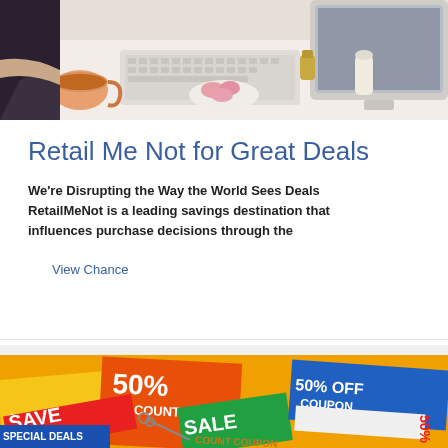[Figure (photo): Top banner image showing a person holding a cup of tea at a desk with a keyboard, snacks on a plate, and a computer monitor in the background. White and bright workspace setting.]
Retail Me Not for Great Deals
We're Disrupting the Way the World Sees Deals RetailMeNot is a leading savings destination that influences purchase decisions through the
View Chance
[Figure (photo): Bottom banner image showing a collage of colorful discount coupons and vouchers including '50% DISCOUNT', '50% OFF COUPON', 'SAVE', 'SPECIAL DEALS', '$10', and various other deal stickers.]